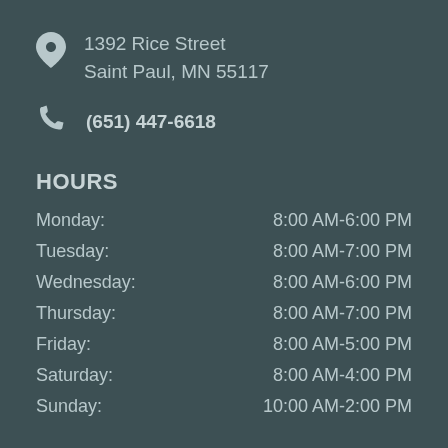1392 Rice Street
Saint Paul, MN 55117
(651) 447-6618
HOURS
Monday: 8:00 AM-6:00 PM
Tuesday: 8:00 AM-7:00 PM
Wednesday: 8:00 AM-6:00 PM
Thursday: 8:00 AM-7:00 PM
Friday: 8:00 AM-5:00 PM
Saturday: 8:00 AM-4:00 PM
Sunday: 10:00 AM-2:00 PM